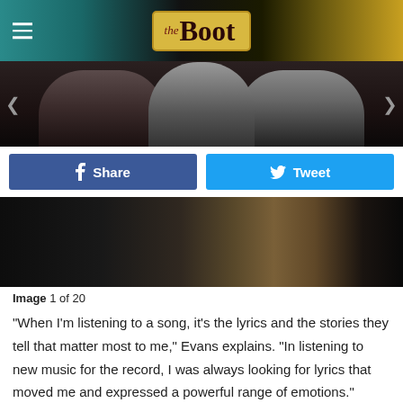[Figure (photo): The Boot website header banner with hamburger menu icon on left and The Boot logo in gold/yellow box in center, over a colorful background with teal and gold tones]
[Figure (photo): Dark artistic photo of what appears to be two or three people/band members, partially obscured, in dark tones]
[Figure (screenshot): Facebook Share button (blue) and Twitter Tweet button (cyan/light blue) side by side]
[Figure (photo): Dark artistic photo showing torsos/hands of people, one wearing a sparkly/sequined outfit, dark atmospheric tones]
Image 1 of 20
“When I’m listening to a song, it’s the lyrics and the stories they tell that matter most to me,” Evans explains. “In listening to new music for the record, I was always looking for lyrics that moved me and expressed a powerful range of emotions.”